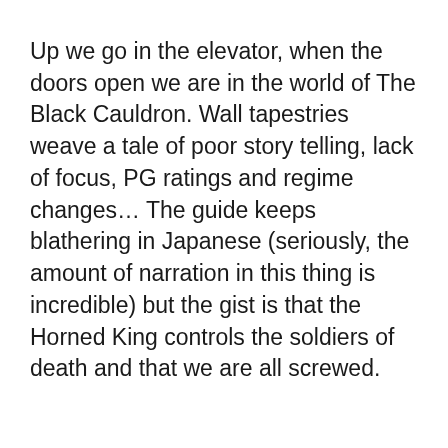Up we go in the elevator, when the doors open we are in the world of The Black Cauldron. Wall tapestries weave a tale of poor story telling, lack of focus, PG ratings and regime changes… The guide keeps blathering in Japanese (seriously, the amount of narration in this thing is incredible) but the gist is that the Horned King controls the soldiers of death and that we are all screwed.